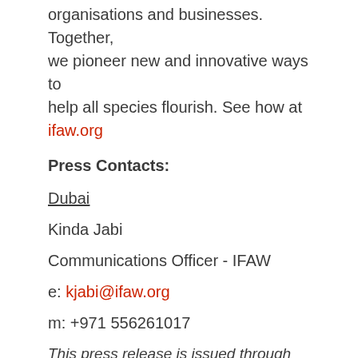organisations and businesses. Together, we pioneer new and innovative ways to help all species flourish. See how at ifaw.org
Press Contacts:
Dubai
Kinda Jabi
Communications Officer - IFAW
e: kjabi@ifaw.org
m: +971 556261017
This press release is issued through Arab